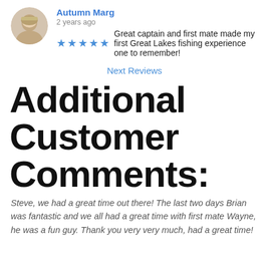[Figure (photo): Circular avatar photo of reviewer Autumn Marg, showing a woman with light hair]
Autumn Marg
2 years ago
★★★★★ Great captain and first mate made my first Great Lakes fishing experience one to remember!
Next Reviews
Additional Customer Comments:
Steve, we had a great time out there! The last two days Brian was fantastic and we all had a great time with first mate Wayne, he was a fun guy. Thank you very very much, had a great time!